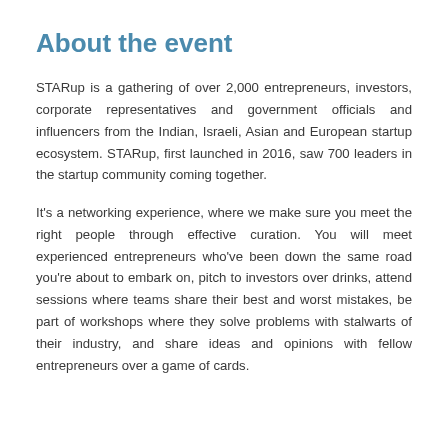About the event
STARup is a gathering of over 2,000 entrepreneurs, investors, corporate representatives and government officials and influencers from the Indian, Israeli, Asian and European startup ecosystem. STARup, first launched in 2016, saw 700 leaders in the startup community coming together.
It's a networking experience, where we make sure you meet the right people through effective curation. You will meet experienced entrepreneurs who've been down the same road you're about to embark on, pitch to investors over drinks, attend sessions where teams share their best and worst mistakes, be part of workshops where they solve problems with stalwarts of their industry, and share ideas and opinions with fellow entrepreneurs over a game of cards.